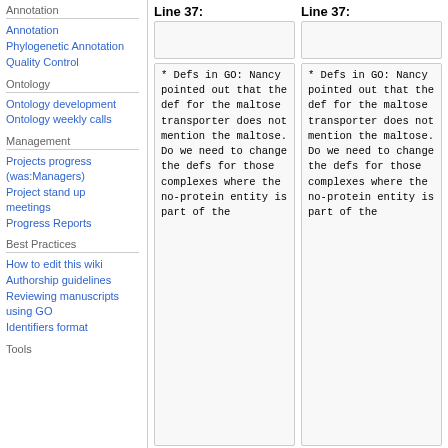Annotation
Annotation
Phylogenetic Annotation
Quality Control
Ontology
Ontology development
Ontology weekly calls
Management
Projects progress (was:Managers)
Project stand up meetings
Progress Reports
Best Practices
How to edit this wiki
Authorship guidelines
Reviewing manuscripts using GO
Identifiers format
Tools
Line 37:
Line 37:
* Defs in GO: Nancy pointed out that the def for the maltose transporter does not mention the maltose. Do we need to change the defs for those complexes where the no-protein entity is part of the
* Defs in GO: Nancy pointed out that the def for the maltose transporter does not mention the maltose. Do we need to change the defs for those complexes where the no-protein entity is part of the